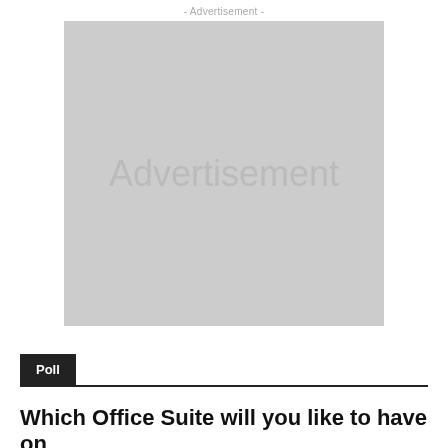- Advertisement -
[Figure (other): Advertisement placeholder box with light grey background and the word 'Advertisement' in grey text centered within.]
Poll
Which Office Suite will you like to have on